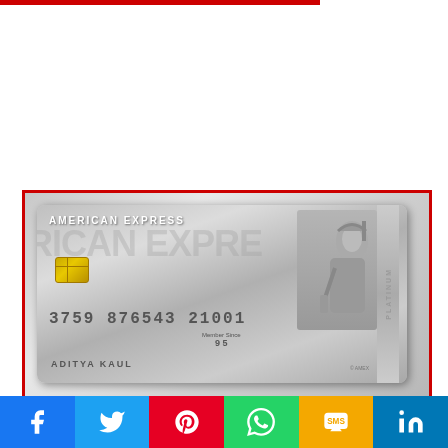[Figure (photo): American Express Platinum credit card showing card number 3759 876543 21001, Member Since 95, cardholder name ADITYA KAUL, with centurion warrior profile image on right side]
Limited Period Offer
[Figure (infographic): Social media share buttons: Facebook, Twitter, Pinterest, WhatsApp, SMS, LinkedIn]